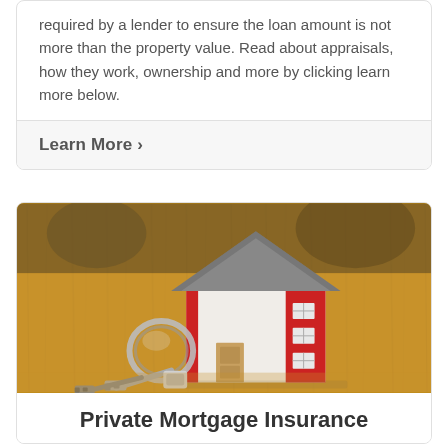required by a lender to ensure the loan amount is not more than the property value. Read about appraisals, how they work, ownership and more by clicking learn more below.
Learn More >
[Figure (photo): A miniature model house with a grey roof and red walls sits on a wooden surface next to a set of metal keys on a keyring.]
Private Mortgage Insurance